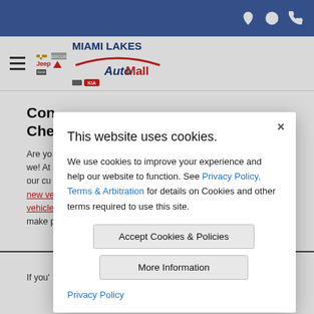Miami Lakes AutoMall website header with navigation icons (location, clock, phone)
[Figure (logo): Miami Lakes AutoMall logo with Chevrolet, Jeep, Ram, Kia brand icons]
Con... Che...
Are yo... o are we! At... o help our cu... ur new ve... vehicle... p make p...
If you'...
This website uses cookies. We use cookies to improve your experience and help our website to function. See Privacy Policy, Terms & Arbitration for details on Cookies and other terms required to use this site.
Accept Cookies & Policies
More Information
Privacy Policy